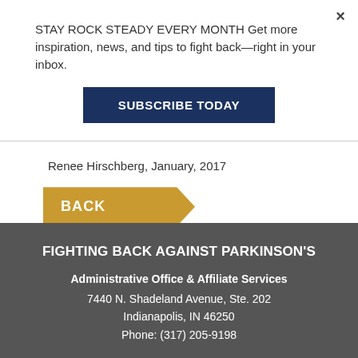STAY ROCK STEADY EVERY MONTH Get more inspiration, news, and tips to fight back—right in your inbox.
[Figure (other): Subscribe Today button — dark navy blue rectangular button with white bold uppercase text 'SUBSCRIBE TODAY']
Renee Hirschberg, January, 2017
[Figure (other): Back button — golden/amber arrow-shaped button with white bold uppercase text 'BACK']
FIGHTING BACK AGAINST PARKINSON'S
Administrative Office & Affiliate Services
7440 N. Shadeland Avenue, Ste. 202
Indianapolis, IN 46250
Phone: (317) 205-9198